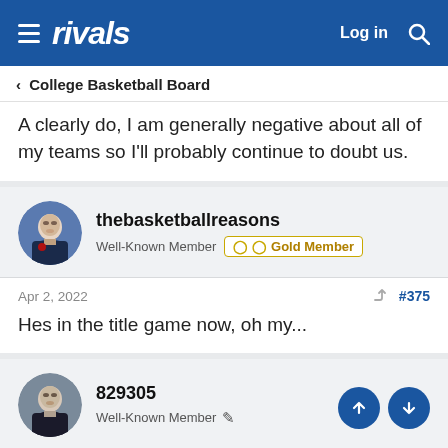rivals — Log in
< College Basketball Board
A clearly do, I am generally negative about all of my teams so I'll probably continue to doubt us.
thebasketballreasons
Well-Known Member  Gold Member
Apr 2, 2022  #375
Hes in the title game now, oh my...
829305
Well-Known Member